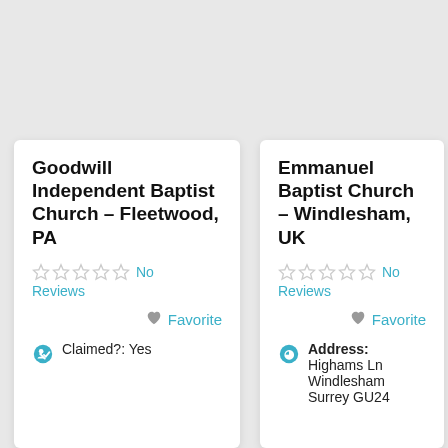Goodwill Independent Baptist Church – Fleetwood, PA
No Reviews
Favorite
Claimed?: Yes
Emmanuel Baptist Church – Windlesham, UK
No Reviews
Favorite
Address: Highams Ln Windlesham Surrey GU24